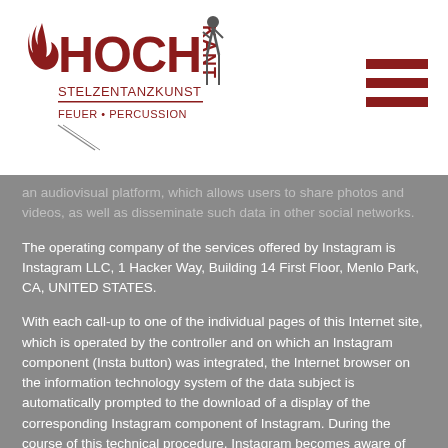Hochkant Stelzentanzkunst Feuer + Percussion logo and navigation
an audiovisual platform, which allows users to share photos and videos, as well as disseminate such data in other social networks.
The operating company of the services offered by Instagram is Instagram LLC, 1 Hacker Way, Building 14 First Floor, Menlo Park, CA, UNITED STATES.
With each call-up to one of the individual pages of this Internet site, which is operated by the controller and on which an Instagram component (Insta button) was integrated, the Internet browser on the information technology system of the data subject is automatically prompted to the download of a display of the corresponding Instagram component of Instagram. During the course of this technical procedure, Instagram becomes aware of what specific sub-page of our website was visited by the data subject.
If the data subject is logged in at the same time on Instagram, Instagram detects with every call-up to our website by the data subject—and for the entire duration of their stay on our Internet site